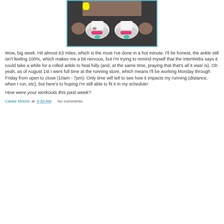[Figure (photo): Overhead/top-down view of a person looking down at their feet wearing white and pink running shoes on a dark track or pavement, with a yellow fitness tracker/watch visible on the wrist]
Wow, big week. Hit almost 63 miles, which is the most I've done in a hot minute. I'll be honest, the ankle still isn't feeling 100%, which makes me a bit nervous, but I'm trying to remind myself that the InterWebs says it could take a while for a rolled ankle to heal fully (and, at the same time, praying that that's all it was/ is). Oh yeah, as of August 1st I went full time at the running store, which means I'll be working Monday through Friday from open to close (10am - 7pm). Only time will tell to see how it impacts my running (distance, when I run, etc), but here's to hoping I'm still able to fit it in my schedule!
How were your workouts this past week?
Carlee McDot at 4:30 AM    No comments: